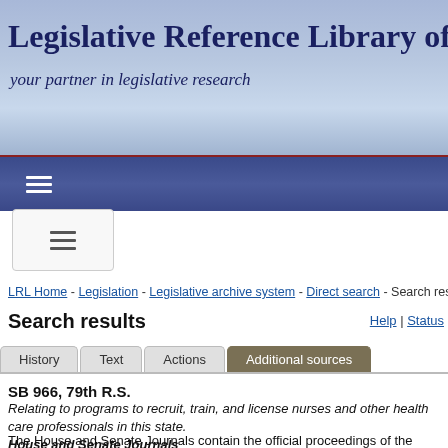Legislative Reference Library of Texas
your partner in legislative research
LRL Home - Legislation - Legislative archive system - Direct search - Search results
Search results
Help | Status
History  Text  Actions  Additional sources
SB 966, 79th R.S.
Relating to programs to recruit, train, and license nurses and other health care professionals in this state.
House and Senate Journals
The House and Senate Journals contain the official proceedings of the House of Representatives and Senate. The Journals include the text of proposed